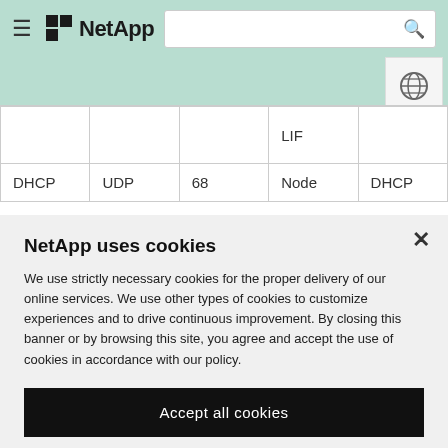NetApp
|  |  |  | LIF |  |
| DHCP | UDP | 68 | Node | DHCP |
NetApp uses cookies
We use strictly necessary cookies for the proper delivery of our online services. We use other types of cookies to customize experiences and to drive continuous improvement. By closing this banner or by browsing this site, you agree and accept the use of cookies in accordance with our policy.
Accept all cookies
Cookie settings